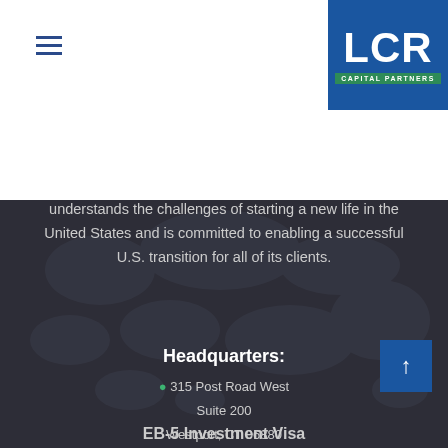[Figure (logo): LCR Capital Partners logo — blue square with white LCR letters and green CAPITAL PARTNERS banner]
understands the challenges of starting a new life in the United States and is committed to enabling a successful U.S. transition for all of its clients.
Headquarters:
315 Post Road West
Suite 200
Westport, CT 06880
+1 (203) 883-1940
EB-5 Investment Visa